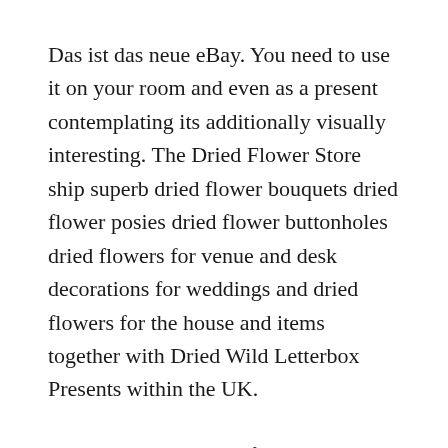Das ist das neue eBay. You need to use it on your room and even as a present contemplating its additionally visually interesting. The Dried Flower Store ship superb dried flower bouquets dried flower posies dried flower buttonholes dried flowers for venue and desk decorations for weddings and dried flowers for the house and items together with Dried Wild Letterbox Presents within the UK.
Premium recent lower flowers rigorously picked for you by our reliable companions. It makes good dried flower bouquets for weddings. Grasses akin to pampas grass Purple Fountain grass sedge wheat fern and Bunny.